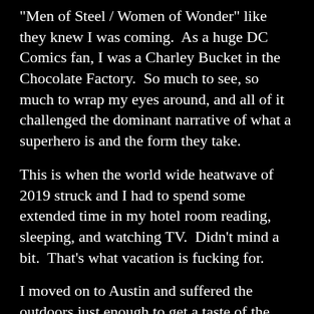“Men of Steel / Women of Wonder” like they knew I was coming.  As a huge DC Comics fan, I was a Charley Bucket in the Chocolate Factory.  So much to see, so much to wrap my eyes around, and all of it challenged the dominant narrative of what a superhero is and the form they take.
This is when the world wide heatwave of 2019 struck and I had to spend some extended time in my hotel room reading, sleeping, and watching TV.  Didn’t mind a bit.  That’s what vacation is fucking for.
I moved on to Austin and suffered the outdoors just enough to get a taste of the city and live